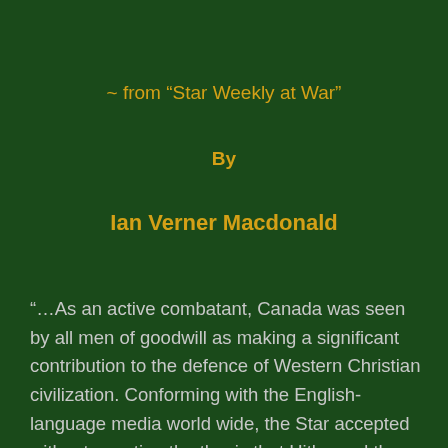~ from “Star Weekly at War”
By
Ian Verner Macdonald
“…As an active combatant, Canada was seen by all men of goodwill as making a significant contribution to the defence of Western Christian civilization. Conforming with the English-language media world wide, the Star accepted without question the thesis that Hitler and the Nazis had to be stopped lest ‘we all end up in concentration camps’ or worse, under the heel of a ferocious dictator and his sinister Gestapo. Such was the